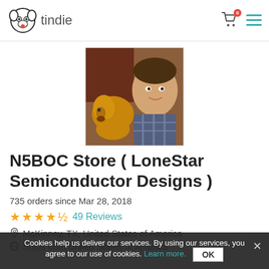tindie
[Figure (photo): Profile photo of a man with a golden retriever dog]
N5BOC Store ( LoneStar Semiconductor Designs )
735 orders since Mar 28, 2018
★★★★½ 49 Reviews
McKinney, TX, United States of America
Ships from United States of America
Cookies help us deliver our services. By using our services, you agree to our use of cookies. Learn more. OK